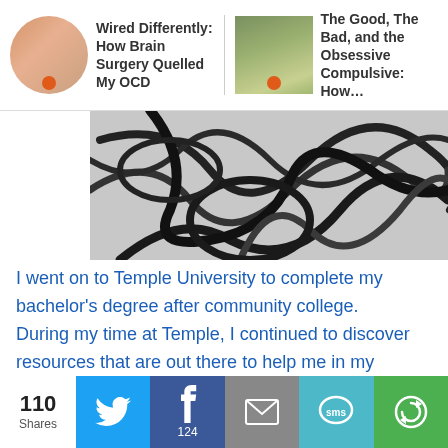[Figure (screenshot): Navigation bar with two article thumbnails: 'Wired Differently: How Brain Surgery Quelled My OCD' with circular portrait photo of woman, and 'The Good, The Bad, and the Obsessive Compulsive: How...' with rectangular outdoor photo of person]
[Figure (photo): Close-up photo of tangled black wires/cables on a light surface]
I went on to Temple University to complete my bachelor's degree after community college. During my time at Temple, I continued to discover resources that are out there to help me in my recovery. I received accommodations for my disabilities, which acted as a safety net for my classes. I was provided with financial aid to finish college, received career services
[Figure (screenshot): Share buttons bar at bottom: 110 Shares count, Twitter button, Facebook button with 124 count, Email button, SMS button, Share button]